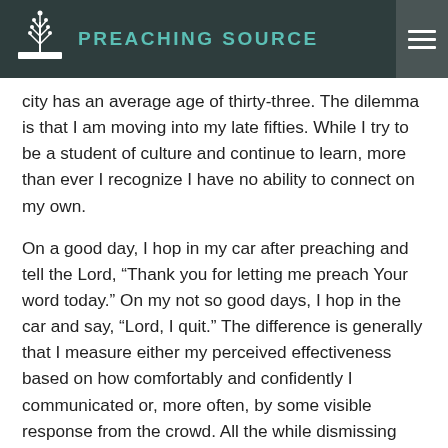PREACHING SOURCE
city has an average age of thirty-three. The dilemma is that I am moving into my late fifties. While I try to be a student of culture and continue to learn, more than ever I recognize I have no ability to connect on my own.
On a good day, I hop in my car after preaching and tell the Lord, “Thank you for letting me preach Your word today.” On my not so good days, I hop in the car and say, “Lord, I quit.” The difference is generally that I measure either my perceived effectiveness based on how comfortably and confidently I communicated or, more often, by some visible response from the crowd. All the while dismissing that God is working through His word even when my earthly measurements don’t match His standards.
I must remind myself that God has called me. And I must have total confidence that my preaching is absolutely dependent upon Him. I will prepare with the best of my